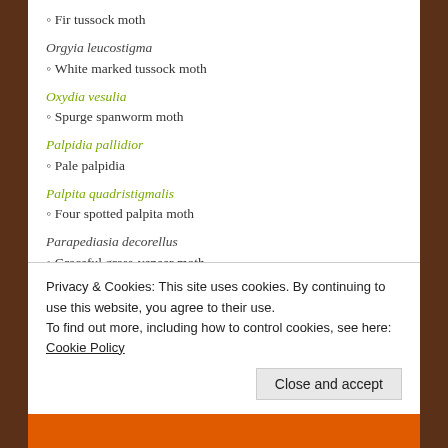Fir tussock moth
Orgyia leucostigma
◦ White marked tussock moth
Oxydia vesulia
◦ Spurge spanworm moth
Palpidia pallidior
◦ Pale palpidia
Palpita quadristigmalis
◦ Four spotted palpita moth
Parapediasia decorellus
◦ Graceful grass-veneer moth
Parapoynx allionealis
Privacy & Cookies: This site uses cookies. By continuing to use this website, you agree to their use. To find out more, including how to control cookies, see here: Cookie Policy